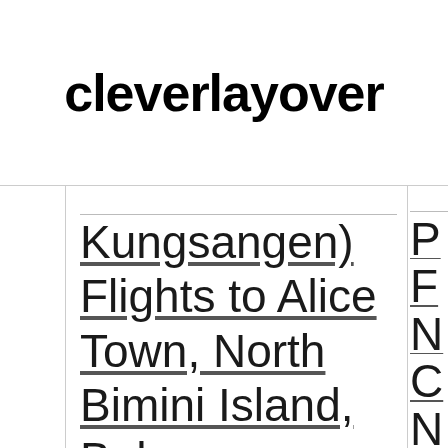cleverlayover
Kungsangen) Flights to Alice Town, North Bimini Island, Bahamas (NSB- North Seaplane